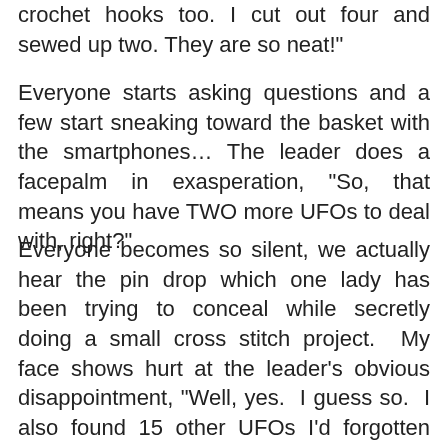crochet hooks too. I cut out four and sewed up two. They are so neat!"
Everyone starts asking questions and a few start sneaking toward the basket with the smartphones… The leader does a facepalm in exasperation, "So, that means you have TWO more UFOs to deal with, right?"
Everyone becomes so silent, we actually hear the pin drop which one lady has been trying to conceal while secretly doing a small cross stitch project.  My face shows hurt at the leader's obvious disappointment, "Well, yes.  I guess so.  I also found 15 other UFOs I'd forgotten about.  I stacked them neatly in a laundry basket to get to as soon as possible."